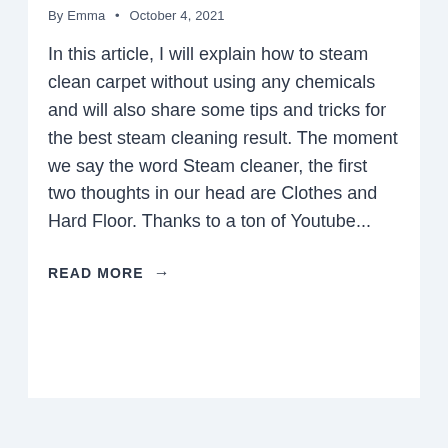By Emma • October 4, 2021
In this article, I will explain how to steam clean carpet without using any chemicals and will also share some tips and tricks for the best steam cleaning result. The moment we say the word Steam cleaner, the first two thoughts in our head are Clothes and Hard Floor. Thanks to a ton of Youtube...
READ MORE →